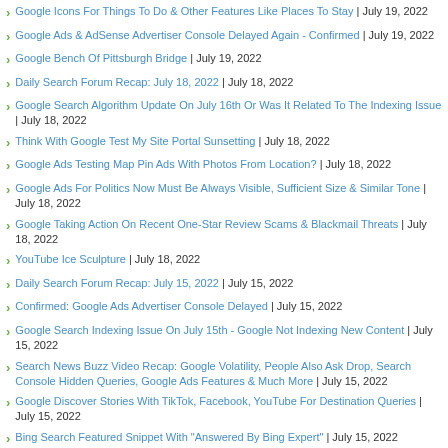Google Icons For Things To Do & Other Features Like Places To Stay | July 19, 2022
Google Ads & AdSense Advertiser Console Delayed Again - Confirmed | July 19, 2022
Google Bench Of Pittsburgh Bridge | July 19, 2022
Daily Search Forum Recap: July 18, 2022 | July 18, 2022
Google Search Algorithm Update On July 16th Or Was It Related To The Indexing Issue | July 18, 2022
Think With Google Test My Site Portal Sunsetting | July 18, 2022
Google Ads Testing Map Pin Ads With Photos From Location? | July 18, 2022
Google Ads For Politics Now Must Be Always Visible, Sufficient Size & Similar Tone | July 18, 2022
Google Taking Action On Recent One-Star Review Scams & Blackmail Threats | July 18, 2022
YouTube Ice Sculpture | July 18, 2022
Daily Search Forum Recap: July 15, 2022 | July 15, 2022
Confirmed: Google Ads Advertiser Console Delayed | July 15, 2022
Google Search Indexing Issue On July 15th - Google Not Indexing New Content | July 15, 2022
Search News Buzz Video Recap: Google Volatility, People Also Ask Drop, Search Console Hidden Queries, Google Ads Features & Much More | July 15, 2022
Google Discover Stories With TikTok, Facebook, YouTube For Destination Queries | July 15, 2022
Bing Search Featured Snippet With "Answered By Bing Expert" | July 15, 2022